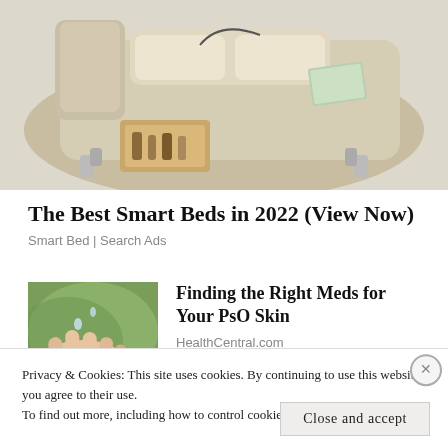[Figure (photo): Photo of a smart/luxury bed with storage drawers open, beige leather upholstery, shot from above at an angle. Drawers on the side are open revealing storage.]
The Best Smart Beds in 2022 (View Now)
Smart Bed | Search Ads
[Figure (photo): Close-up photo of a hand with drops of liquid falling onto fingers, against a green blurred background. Related to PsO skin medication.]
Finding the Right Meds for Your PsO Skin
HealthCentral.com
Privacy & Cookies: This site uses cookies. By continuing to use this website, you agree to their use.
To find out more, including how to control cookies, see here: Cookie Policy